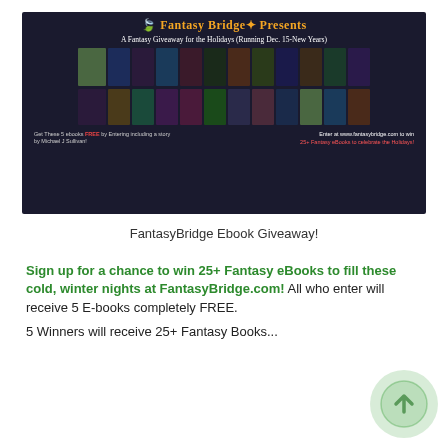[Figure (illustration): Fantasy Bridge Presents banner image showing multiple fantasy book covers arranged in a grid. Text reads: 'Fantasy Bridge Presents - A Fantasy Giveaway for the Holidays (Running Dec. 15-New Years)'. Bottom left: 'Get These 5 ebooks FREE by Entering including a story by Michael J Sullivan!' Bottom right: 'Enter at www.fantasybridge.com to win 25+ Fantasy eBooks to celebrate the Holidays!']
FantasyBridge Ebook Giveaway!
Sign up for a chance to win 25+ Fantasy eBooks to fill these cold, winter nights at FantasyBridge.com! All who enter will receive 5 E-books completely FREE.
5 Winners will receive 25+ Fantasy Books...